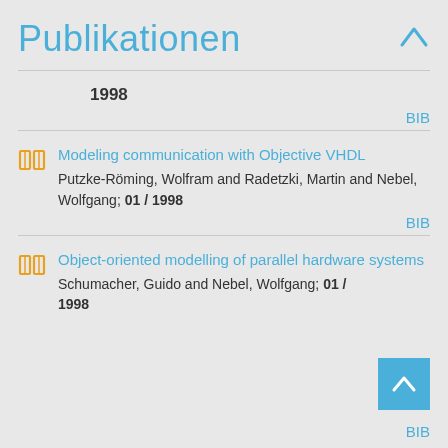Publikationen
1998
BIB
Modeling communication with Objective VHDL
Putzke-Röming, Wolfram and Radetzki, Martin and Nebel, Wolfgang; 01 / 1998
BIB
Object-oriented modelling of parallel hardware systems
Schumacher, Guido and Nebel, Wolfgang; 01 / 1998
BIB